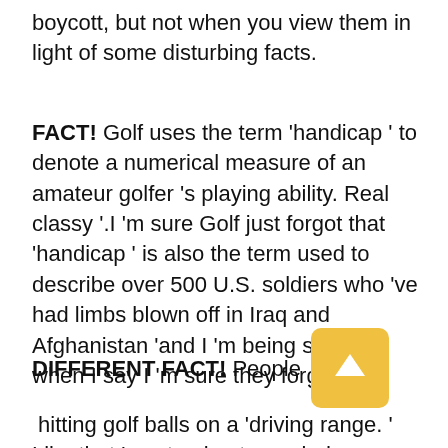boycott, but not when you view them in light of some disturbing facts.
FACT! Golf uses the term ‘handicap’ to denote a numerical measure of an amateur golfer’s playing ability. Real classy ‘.I’m sure Golf just forgot that ‘handicap’ is also the term used to describe over 500 U.S. soldiers who’ve had limbs blown off in Iraq and Afghanistan ‘and I’m being sarcastic when I say I’m sure they forgot.
DIFFERENT FACT! People [scroll button] hitting golf balls on a ‘driving range.’ Like that’s not going to remind every red blooded American of our brave troops DRIVING poorly armored vehicles through places like Baghdad and Mosul. Sheesh! More like